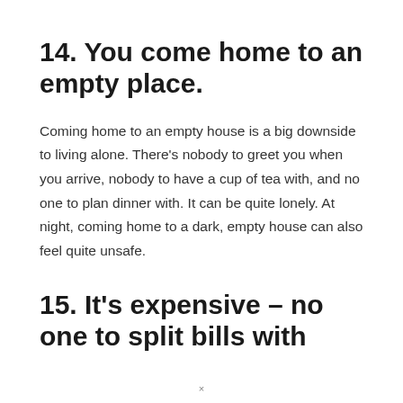14. You come home to an empty place.
Coming home to an empty house is a big downside to living alone. There's nobody to greet you when you arrive, nobody to have a cup of tea with, and no one to plan dinner with. It can be quite lonely. At night, coming home to a dark, empty house can also feel quite unsafe.
15. It's expensive – no one to split bills with